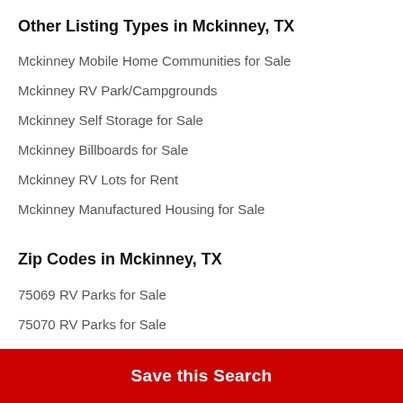Other Listing Types in Mckinney, TX
Mckinney Mobile Home Communities for Sale
Mckinney RV Park/Campgrounds
Mckinney Self Storage for Sale
Mckinney Billboards for Sale
Mckinney RV Lots for Rent
Mckinney Manufactured Housing for Sale
Zip Codes in Mckinney, TX
75069 RV Parks for Sale
75070 RV Parks for Sale
75071 RV Parks for Sale
Save this Search